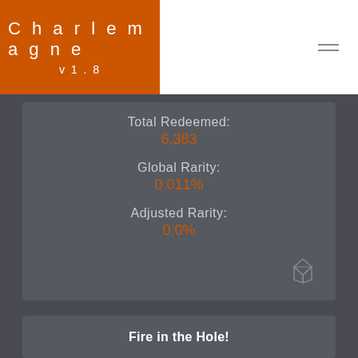Charlemagne v1.8
Total Redeemed:
6,383
Global Rarity:
0.011%
Adjusted Rarity:
0.0%
Fire in the Hole!